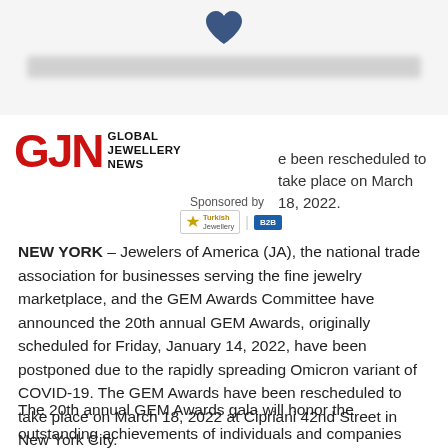[Figure (logo): GJN Global Jewellery News logo with red letters GJN and black text GLOBAL JEWELLERY NEWS beside it]
e been rescheduled to take place on March 18, 2022. Sponsored by
[Figure (logo): Turkish Jewellery and B2B logos side by side]
NEW YORK – Jewelers of America (JA), the national trade association for businesses serving the fine jewelry marketplace, and the GEM Awards Committee have announced the 20th annual GEM Awards, originally scheduled for Friday, January 14, 2022, have been postponed due to the rapidly spreading Omicron variant of COVID-19. The GEM Awards have been rescheduled to take place on March 18, 2022 at Cipriani 42nd Street in New York City.
The 20th annual GEM Awards gala will honor the outstanding achievements of individuals and companies whose work raises the visibility and status of fine jewelry and watches.